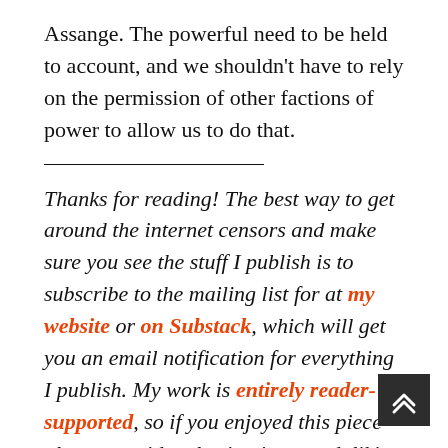Assange. The powerful need to be held to account, and we shouldn't have to rely on the permission of other factions of power to allow us to do that.
Thanks for reading! The best way to get around the internet censors and make sure you see the stuff I publish is to subscribe to the mailing list for at my website or on Substack, which will get you an email notification for everything I publish. My work is entirely reader-supported, so if you enjoyed this piece please consider sharing it around, liking me on Facebook, following my antics on Twitter, throwing some money into my tip jar